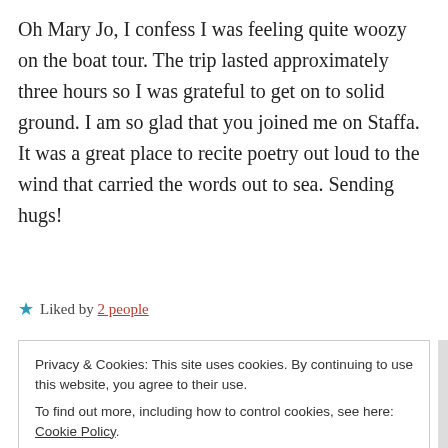Oh Mary Jo, I confess I was feeling quite woozy on the boat tour. The trip lasted approximately three hours so I was grateful to get on to solid ground. I am so glad that you joined me on Staffa. It was a great place to recite poetry out loud to the wind that carried the words out to sea. Sending hugs!
★ Liked by 2 people
Privacy & Cookies: This site uses cookies. By continuing to use this website, you agree to their use.
To find out more, including how to control cookies, see here: Cookie Policy
Close and accept